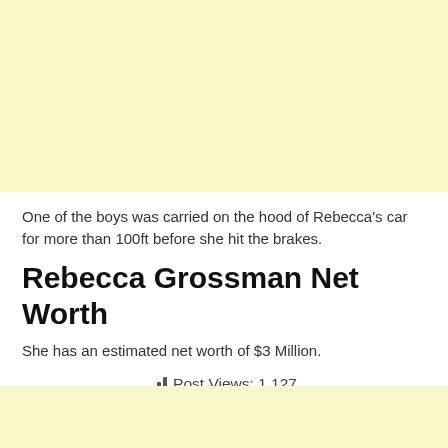[Figure (other): Light yellow banner/advertisement block at top of page]
One of the boys was carried on the hood of Rebecca’s car for more than 100ft before she hit the brakes.
Rebecca Grossman Net Worth
She has an estimated net worth of $3 Million.
Post Views: 1,127
[Figure (other): Light yellow banner/advertisement block at bottom of page]